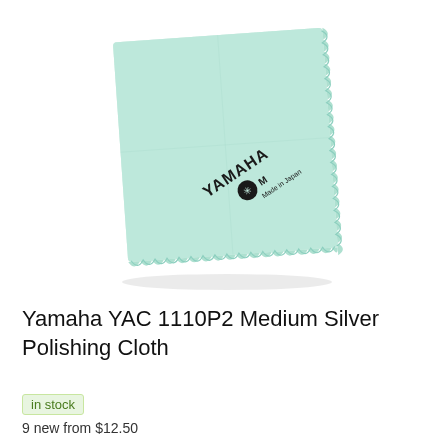[Figure (photo): Light mint/seafoam green Yamaha polishing cloth folded into a square, with a scalloped/pinked edge, displaying the YAMAHA logo and symbol in dark print along with 'M' and 'Made in Japan' text near the bottom right corner of the cloth. The cloth is photographed on a white background.]
Yamaha YAC 1110P2 Medium Silver Polishing Cloth
in stock
9 new from $12.50